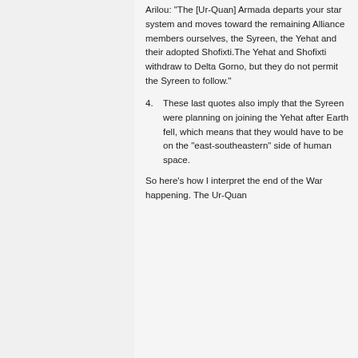Arilou: "The [Ur-Quan] Armada departs your star system and moves toward the remaining Alliance members ourselves, the Syreen, the Yehat and their adopted Shofixti.The Yehat and Shofixti withdraw to Delta Gorno, but they do not permit the Syreen to follow."
4. These last quotes also imply that the Syreen were planning on joining the Yehat after Earth fell, which means that they would have to be on the "east-southeastern" side of human space.
So here's how I interpret the end of the War happening. The Ur-Quan